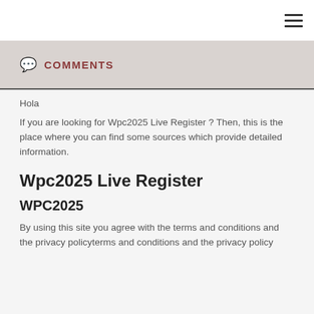≡
COMMENTS
Hola
If you are looking for Wpc2025 Live Register ? Then, this is the place where you can find some sources which provide detailed information.
Wpc2025 Live Register
WPC2025
By using this site you agree with the terms and conditions and the privacy policyterms and conditions and the privacy policy